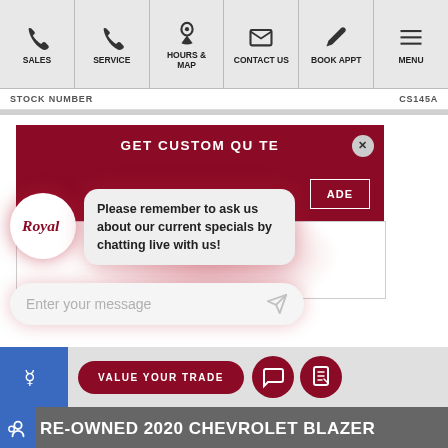SALES | SERVICE | HOURS & MAP | CONTACT US | BOOK APPT | MENU
STOCK NUMBER   CS145A
[Figure (screenshot): GET CUSTOM QUOTE panel with dark red header and close button, overlaid by a Royal chat bot bubble saying 'Please remember to ask us about our current specials by chatting live with us!' and a chat input box 'Enter your message', with VALUE YOUR TRADE button in background]
VALUE YOUR TRADE  [chat icon] [message icon]
RE-OWNED 2020 CHEVROLET BLAZER